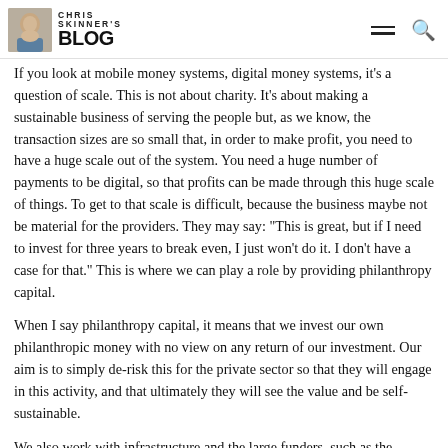Chris Skinner's Blog
If you look at mobile money systems, digital money systems, it's a question of scale. This is not about charity. It's about making a sustainable business of serving the people but, as we know, the transaction sizes are so small that, in order to make profit, you need to have a huge scale out of the system. You need a huge number of payments to be digital, so that profits can be made through this huge scale of things. To get to that scale is difficult, because the business maybe not be material for the providers. They may say: "This is great, but if I need to invest for three years to break even, I just won't do it. I don't have a case for that." This is where we can play a role by providing philanthropy capital.
When I say philanthropy capital, it means that we invest our own philanthropic money with no view on any return of our investment. Our aim is to simply de-risk this for the private sector so that they will engage in this activity, and that ultimately they will see the value and be self-sustainable.
We also work with infrastructure and the large funders, such as the African Development Bank, so it is not all philanthropic capital as that's infrastructure development capital. It is loans, but they have a huge financing power and so we can also bring these players to the table.
In summary, we will all benefit from an economy that includes everyone. We call this the Level One Project: creating the national infrastructure for digital payments that will achieve this vision. You